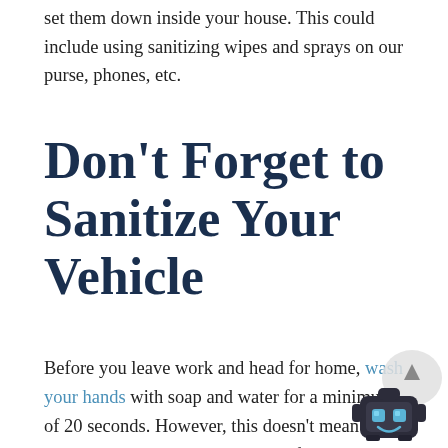set them down inside your house. This could include using sanitizing wipes and sprays on our purse, phones, etc.
Don't Forget to Sanitize Your Vehicle
Before you leave work and head for home, wash your hands with soap and water for a minimum of 20 seconds. However, this doesn't mean you are clear as you still run the risk of being exposed from touching certain door handles, carrying contaminated personal items, having the virus on your clothes, etc. Once home, grab a sanitizing